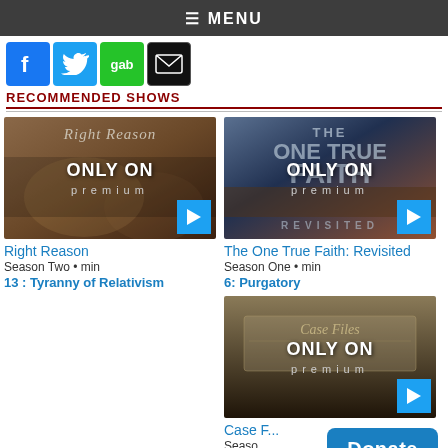≡ MENU
[Figure (other): Social media icons: Facebook (blue), Twitter (blue bird), Gab (green), Email (black envelope)]
RECOMMENDED SHOWS
[Figure (other): Right Reason show thumbnail with 'ONLY ON premium' overlay and play button]
Right Reason
Season Two • min
13 : Tyranny of Relativism
[Figure (other): The One True Faith: Revisited show thumbnail with 'ONLY ON premium' overlay and play button]
The One True Faith: Revisited
Season One • min
6: Purgatory
[Figure (other): Case Files show thumbnail with 'ONLY ON premium' overlay and play button]
Case F...
Seaso...
5: Th...
[Figure (other): Donate button (blue rounded rectangle)]